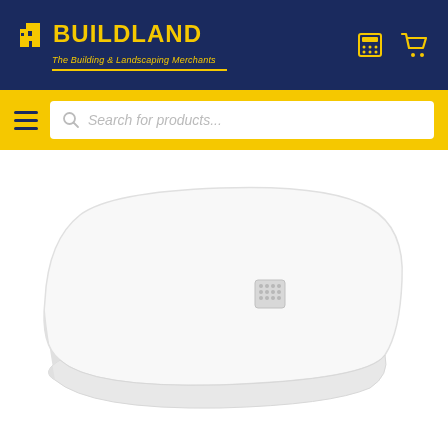BUILDLAND - The Building & Landscaping Merchants
[Figure (screenshot): Yellow search bar with hamburger menu icon on left and search input field with placeholder text 'Search for products...']
[Figure (photo): White rectangular shower tray with rounded corners and square drain cover, viewed from above at a slight angle.]